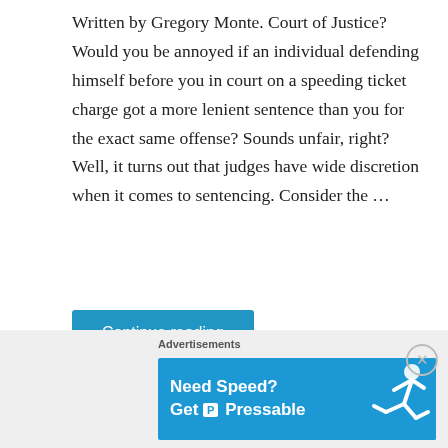Written by Gregory Monte. Court of Justice? Would you be annoyed if an individual defending himself before you in court on a speeding ticket charge got a more lenient sentence than you for the exact same offense? Sounds unfair, right? Well, it turns out that judges have wide discretion when it comes to sentencing. Consider the …
[Figure (other): Blue 'Continue reading' button]
libertarian, police, speeding ticket, stop sign ticket, traffic ticket, Traffic Tickets
Leave a comment   November 6, 2019
[Figure (other): Advertisement banner: Need Speed? Get Pressable — with runner figure on blue background]